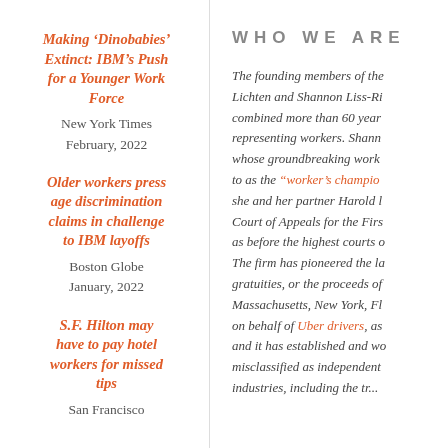Making ‘Dinobabies’ Extinct: IBM’s Push for a Younger Work Force
New York Times
February, 2022
Older workers press age discrimination claims in challenge to IBM layoffs
Boston Globe
January, 2022
S.F. Hilton may have to pay hotel workers for missed tips
San Francisco
WHO WE ARE
The founding members of the firm, Lichten and Shannon Liss-Riordan, combined more than 60 years of experience representing workers. Shannon, whose groundbreaking work is referred to as the "worker's champion", and she and her partner Harold have argued in the Court of Appeals for the First Circuit, as well as before the highest courts of several states. The firm has pioneered the law of tips, gratuities, or the proceeds of automatic Massachusetts, New York, Florida, and on behalf of Uber drivers, as well as and it has established and won cases of misclassified as independent contractors industries, including the tr...